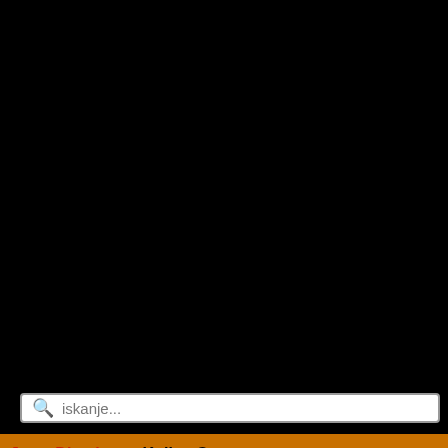[Figure (screenshot): Black background top area of a website screenshot]
iskanje...
Jama Dimnice ➡ Knjiga Gostov
MENU
Everett   12 februar 2021 18:45
Punk not dead https://www.yout... dosage Chambers explained he... need." The company needs to w... isn't at all worried about Cisco's...